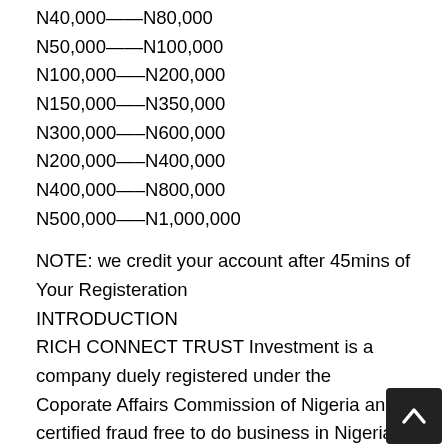N40,000——N80,000
N50,000——N100,000
N100,000—–N200,000
N150,000—–N350,000
N300,000—–N600,000
N200,000—–N400,000
N400,000—–N800,000
N500,000—–N1,000,000
NOTE: we credit your account after 45mins of Your Registeration
INTRODUCTION
RICH CONNECT TRUST Investment is a company duely registered under the Coporate Affairs Commission of Nigeria and certified fraud free to do business in Nigeria by the Economic Financial Crimes Commission (EFCC). This is a Nigerian network marketing company founded by Okafor Alex Monye